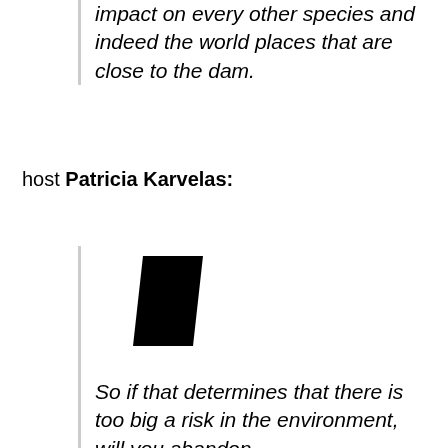impact on every other species and indeed the world places that are close to the dam.
host Patricia Karvelas:
[Figure (illustration): A bold black parallelogram/play-button-like shape used as a decorative logo or icon element.]
So if that determines that there is too big a risk in the environment, will you abandon